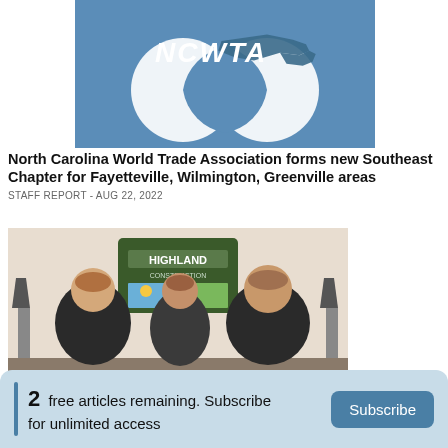[Figure (logo): NCWTA logo — blue circular design with North Carolina state map silhouette and text NCWTA]
North Carolina World Trade Association forms new Southeast Chapter for Fayetteville, Wilmington, Greenville areas
STAFF REPORT - AUG 22, 2022
[Figure (photo): Three men in dark polo shirts standing in front of a Highland Construction logo/sign]
2  free articles remaining. Subscribe for unlimited access